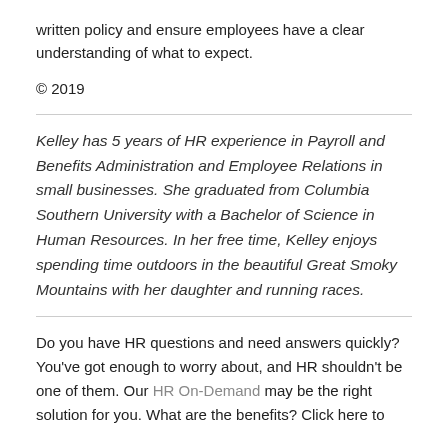written policy and ensure employees have a clear understanding of what to expect.
© 2019
Kelley has 5 years of HR experience in Payroll and Benefits Administration and Employee Relations in small businesses. She graduated from Columbia Southern University with a Bachelor of Science in Human Resources. In her free time, Kelley enjoys spending time outdoors in the beautiful Great Smoky Mountains with her daughter and running races.
Do you have HR questions and need answers quickly? You've got enough to worry about, and HR shouldn't be one of them. Our HR On-Demand may be the right solution for you. What are the benefits? Click here to